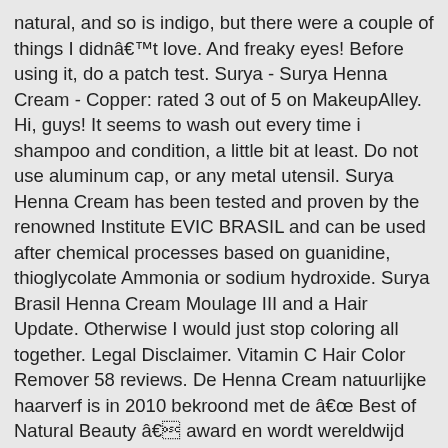natural, and so is indigo, but there were a couple of things I didnât love. And freaky eyes! Before using it, do a patch test. Surya - Surya Henna Cream - Copper: rated 3 out of 5 on MakeupAlley. Hi, guys! It seems to wash out every time i shampoo and condition, a little bit at least. Do not use aluminum cap, or any metal utensil. Surya Henna Cream has been tested and proven by the renowned Institute EVIC BRASIL and can be used after chemical processes based on guanidine, thioglycolate Ammonia or sodium hydroxide. Surya Brasil Henna Cream Moulage III and a Hair Update. Otherwise I would just stop coloring all together. Legal Disclaimer. Vitamin C Hair Color Remover 58 reviews. De Henna Cream natuurlijke haarverf is in 2010 bekroond met de â Best of Natural Beauty â award en wordt wereldwijd door consumenten en professionals beschouwd als dé oplossing op het gebied van natuurlijke haarkleuring. It comes out very dark at first but that's all right with me. Itâs amazing! Your hair becomes healthy, gets more volume and a brilliant shine. Surya Brasil Henna creams and powders are the healthiest hair color products in the world and are sold in about 40 countries. Before - Kao Prettia